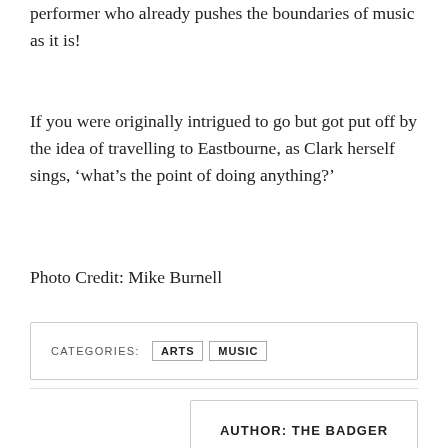performer who already pushes the boundaries of music as it is!
If you were originally intrigued to go but got put off by the idea of travelling to Eastbourne, as Clark herself sings, ‘what’s the point of doing anything?’
Photo Credit: Mike Burnell
CATEGORIES: ARTS MUSIC
AUTHOR: THE BADGER